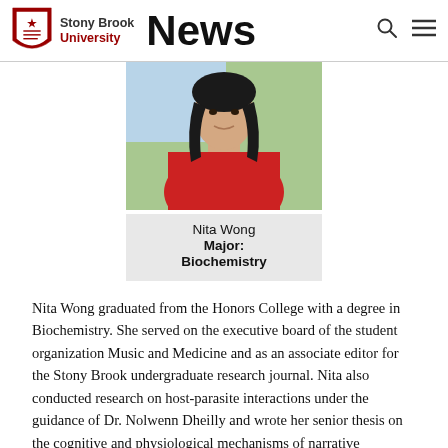Stony Brook University News
[Figure (photo): Profile photo of Nita Wong wearing a red outfit, with greenery in the background]
Nita Wong
Major:
Biochemistry
Nita Wong graduated from the Honors College with a degree in Biochemistry. She served on the executive board of the student organization Music and Medicine and as an associate editor for the Stony Brook undergraduate research journal. Nita also conducted research on host-parasite interactions under the guidance of Dr. Nolwenn Dheilly and wrote her senior thesis on the cognitive and physiological mechanisms of narrative medicine